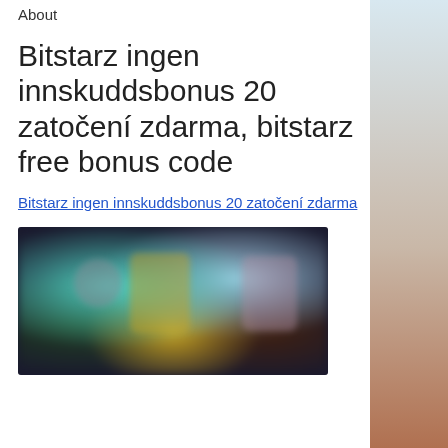About
Bitstarz ingen innskuddsbonus 20 zatočení zdarma, bitstarz free bonus code
Bitstarz ingen innskuddsbonus 20 zatočení zdarma
[Figure (photo): Blurred screenshot of an online casino or gaming website showing colorful character avatars and a dark background with teal and amber tones]